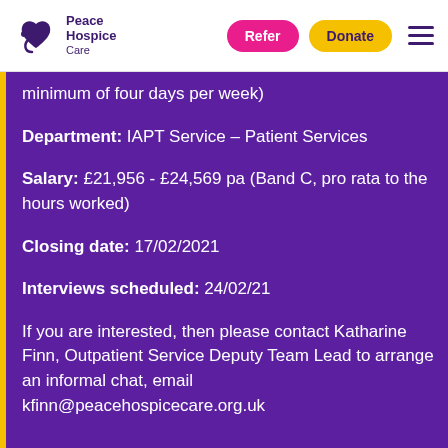Peace Hospice Care | Refer | Donate
minimum of four days per week)
Department: IAPT Service – Patient Services
Salary: £21,956 - £24,569 pa (Band C, pro rata to the hours worked)
Closing date: 17/02/2021
Interviews scheduled: 24/02/21
If you are interested, then please contact Katharine Finn, Outpatient Service Deputy Team Lead to arrange an informal chat, email kfinn@peacehospicecare.org.uk